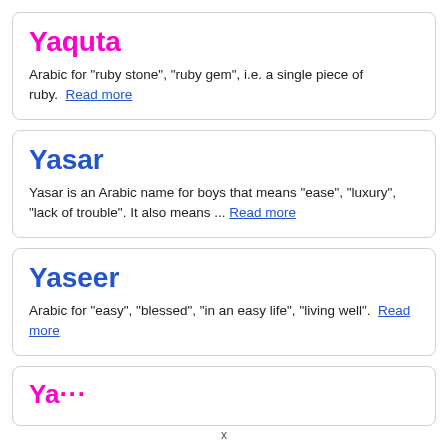Yaquta
Arabic for "ruby stone", "ruby gem", i.e. a single piece of ruby. Read more
Yasar
Yasar is an Arabic name for boys that means "ease", "luxury", "lack of trouble". It also means ... Read more
Yaseer
Arabic for "easy", "blessed", "in an easy life", "living well". Read more
Ya...
x